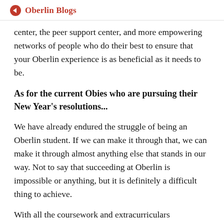Oberlin Blogs
center, the peer support center, and more empowering networks of people who do their best to ensure that your Oberlin experience is as beneficial as it needs to be.
As for the current Obies who are pursuing their New Year's resolutions...
We have already endured the struggle of being an Oberlin student. If we can make it through that, we can make it through almost anything else that stands in our way. Not to say that succeeding at Oberlin is impossible or anything, but it is definitely a difficult thing to achieve.
With all the coursework and extracurriculars that...